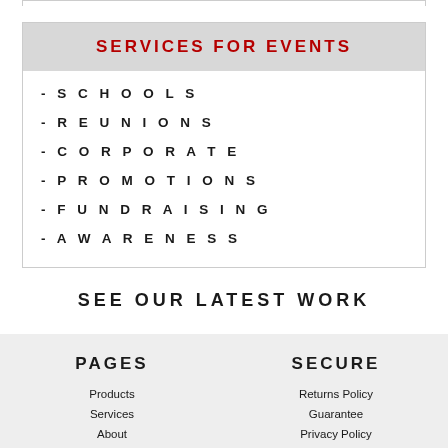SERVICES FOR EVENTS
- SCHOOLS
- REUNIONS
- CORPORATE
- PROMOTIONS
- FUNDRAISING
- AWARENESS
SEE OUR LATEST WORK
PAGES
SECURE
Products
Returns Policy
Services
Guarantee